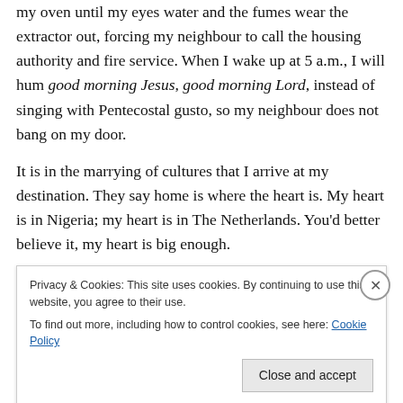after you take one biscuit. But, I will also not smoke fish in my oven until my eyes water and the fumes wear the extractor out, forcing my neighbour to call the housing authority and fire service. When I wake up at 5 a.m., I will hum good morning Jesus, good morning Lord, instead of singing with Pentecostal gusto, so my neighbour does not bang on my door.
It is in the marrying of cultures that I arrive at my destination. They say home is where the heart is. My heart is in Nigeria; my heart is in The Netherlands. You'd better believe it, my heart is big enough.
Privacy & Cookies: This site uses cookies. By continuing to use this website, you agree to their use.
To find out more, including how to control cookies, see here: Cookie Policy